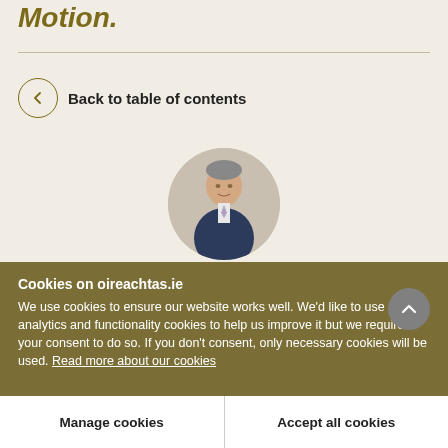Motion.
Back to table of contents
[Figure (photo): Circular portrait photograph of a man in a dark suit with light shirt and tie, smiling slightly]
Cookies on oireachtas.ie
We use cookies to ensure our website works well. We'd like to use analytics and functionality cookies to help us improve it but we require your consent to do so. If you don't consent, only necessary cookies will be used. Read more about our cookies
Manage cookies
Accept all cookies